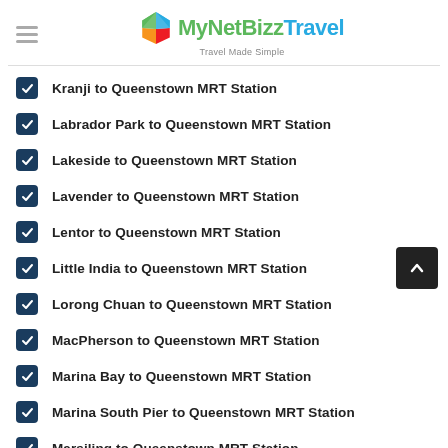MyNetBizz Travel — Travel Made Simple
Kranji to Queenstown MRT Station
Labrador Park to Queenstown MRT Station
Lakeside to Queenstown MRT Station
Lavender to Queenstown MRT Station
Lentor to Queenstown MRT Station
Little India to Queenstown MRT Station
Lorong Chuan to Queenstown MRT Station
MacPherson to Queenstown MRT Station
Marina Bay to Queenstown MRT Station
Marina South Pier to Queenstown MRT Station
Marsiling to Queenstown MRT Station